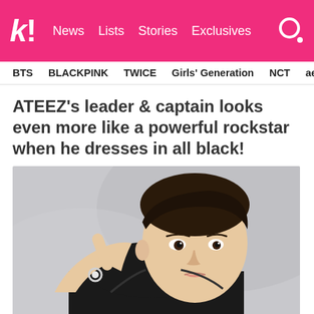k! News Lists Stories Exclusives
BTS BLACKPINK TWICE Girls' Generation NCT aespa
ATEEZ's leader & captain looks even more like a powerful rockstar when he dresses in all black!
[Figure (photo): Young Korean male celebrity with swept-back dark hair, wearing a black leather jacket, pointing finger toward camera with a jeweled ring on his finger, against a gray background.]